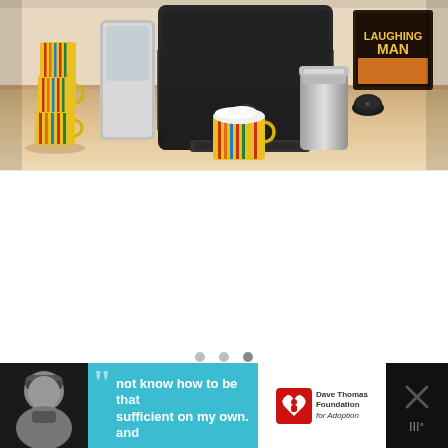[Figure (photo): A countertop scene with a Keurig coffee machine in the center, a yellow and multicolored striped cup stack on the left, a striped coffee mug with foam/latte in the center-left, a stainless steel travel cup on the right, and a Laughing Man coffee box on the far right.]
[Figure (screenshot): A mostly white/blank content area below the photo, likely a slideshow or carousel placeholder with three navigation dots at the bottom.]
[Figure (photo): An advertisement banner at the bottom. Left: a black-and-white photo of a person wearing a beanie hat. Center: a cyan/teal background with large quotation marks and bold white text reading 'not know how to be sufficient on my own. and'. Right: Dave Thomas Foundation for Adoption logo with a red heart icon. Far right: a dark panel with an X close button and a hamburger/menu icon.]